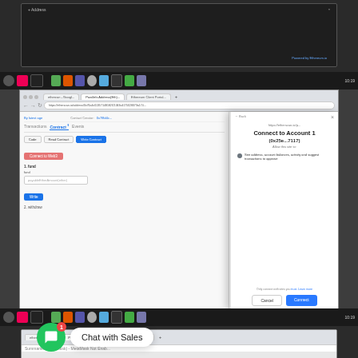[Figure (screenshot): Top portion of a desktop screenshot showing a dark browser/application window with taskbar]
[Figure (screenshot): Screenshot of a web browser showing an Ethereum/blockchain client portal with a Metamask popup dialog asking to Connect to Account 1 (0x25e...7117). The popup shows permission for 'See address, account balances, activity and suggest transactions to approve' with Cancel and Connect buttons.]
You can enter 1 in the box under fund and press the Write Contract button to activate the Metamask pop-up:
[Figure (screenshot): Bottom partial screenshot of the same browser/desktop environment]